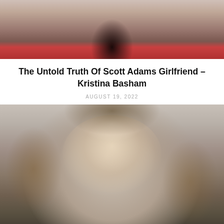[Figure (photo): Top portion of a photo showing a person with dark hair and a red outfit, cropped at the neck/shoulder area.]
The Untold Truth Of Scott Adams Girlfriend – Kristina Basham
AUGUST 19, 2022
[Figure (photo): Portrait photo of a young woman with long light brown/blonde hair, wearing small hoop earrings, with a blurred outdoor background.]